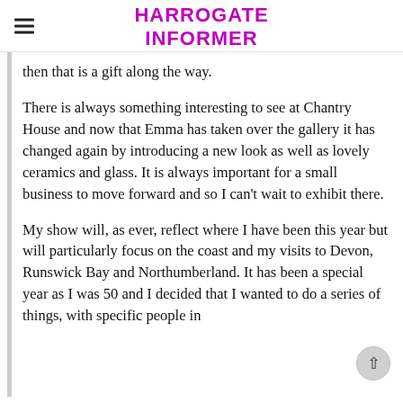HARROGATE INFORMER
then that is a gift along the way.
There is always something interesting to see at Chantry House and now that Emma has taken over the gallery it has changed again by introducing a new look as well as lovely ceramics and glass. It is always important for a small business to move forward and so I can't wait to exhibit there.
My show will, as ever, reflect where I have been this year but will particularly focus on the coast and my visits to Devon, Runswick Bay and Northumberland. It has been a special year as I was 50 and I decided that I wanted to do a series of things, with specific people in